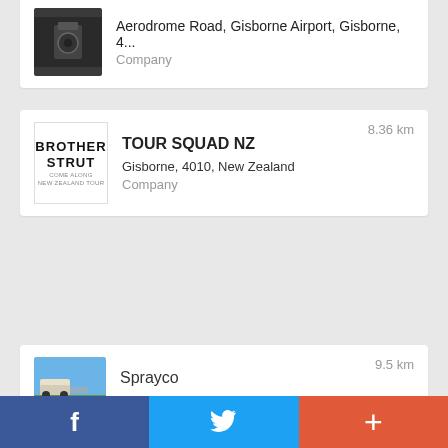Aerodrome Road, Gisborne Airport, Gisborne, 4... Company
TOUR SQUAD NZ 8.36 km Gisborne, 4010, New Zealand Company
Sprayco 9.5 km 211 king rd, Gisborne, 4071, New Zealand